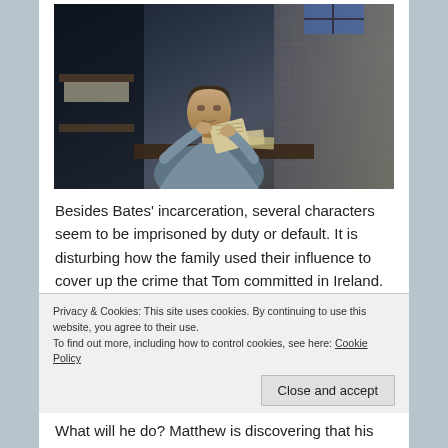[Figure (photo): A man in prison clothes sitting in a dim cell, reading a letter. Bunk bed and brick wall visible in background.]
Besides Bates' incarceration, several characters seem to be imprisoned by duty or default. It is disturbing how the family used their influence to cover up the crime that Tom committed in Ireland. Despicable, really. Even his wife Lady Sybil was
Privacy & Cookies: This site uses cookies. By continuing to use this website, you agree to their use.
To find out more, including how to control cookies, see here: Cookie Policy
Close and accept
What will he do? Matthew is discovering that his